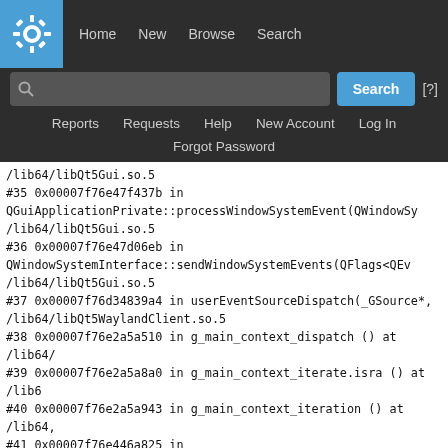KDE Bug Tracker navigation: Home, New, Browse, Search, Reports, Requests, Help, New Account, Log In, Forgot Password
/lib64/libQt5Gui.so.5
#35 0x00007f76e47f437b in QGuiApplicationPrivate::processWindowSystemEvent(QWindowSy /lib64/libQt5Gui.so.5
#36 0x00007f76e47d06eb in QWindowSystemInterface::sendWindowSystemEvents(QFlags<QEv /lib64/libQt5Gui.so.5
#37 0x00007f76d34839a4 in userEventSourceDispatch(_GSource*, /lib64/libQt5WaylandClient.so.5
#38 0x00007f76e2a5a510 in g_main_context_dispatch () at /lib64/
#39 0x00007f76e2a5a8a0 in g_main_context_iterate.isra () at /lib6
#40 0x00007f76e2a5a943 in g_main_context_iteration () at /lib64,
#41 0x00007f76e446a825 in QEventDispatcherGlib::processEvents(